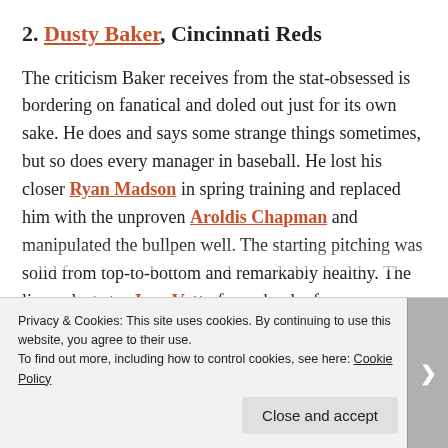2. Dusty Baker, Cincinnati Reds
The criticism Baker receives from the stat-obsessed is bordering on fanatical and doled out just for its own sake. He does and says some strange things sometimes, but so does every manager in baseball. He lost his closer Ryan Madson in spring training and replaced him with the unproven Aroldis Chapman and manipulated the bullpen well. The starting pitching was solid from top-to-bottom and remarkably healthy. The lineup lost star Joey Votto for a chunk of the season, but got through it and won the NL Central
Privacy & Cookies: This site uses cookies. By continuing to use this website, you agree to their use.
To find out more, including how to control cookies, see here: Cookie Policy
Close and accept